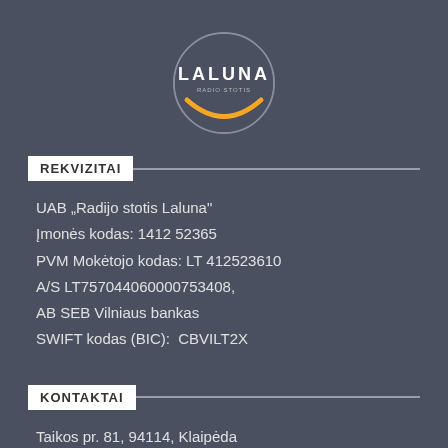[Figure (logo): Laluna radio station logo: circular emblem with golden crescent arc at bottom, white circle outline, text LALUNA in white with subtitle below]
REKVIZITAI
UAB „Radijo stotis Laluna"
Įmonės kodas: 1412 52365
PVM Mokėtojo kodas: LT 412523610
A/S LT757044060000753408,
AB SEB Vilniaus bankas
SWIFT kodas (BIC):  CBVILT2X
KONTAKTAI
Taikos pr. 81, 94114, Klaipėda
Studija: +370 46 390800